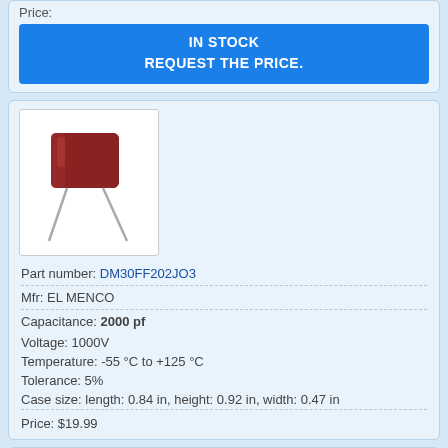Price:
IN STOCK
REQUEST THE PRICE.
[Figure (photo): Photo of a DM30FF202JO3 capacitor component with brown body and two wire leads on white background]
Part number: DM30FF202JO3
Mfr: EL MENCO
Capacitance: 2000 pf
Voltage: 1000V
Temperature: -55 °C to +125 °C
Tolerance: 5%
Case size: length: 0.84 in, height: 0.92 in, width: 0.47 in
Price: $19.99
[Figure (photo): Photo of a small beige/cream colored capacitor component on a green background]